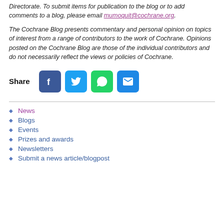Directorate. To submit items for publication to the blog or to add comments to a blog, please email mumoquit@cochrane.org.
The Cochrane Blog presents commentary and personal opinion on topics of interest from a range of contributors to the work of Cochrane. Opinions posted on the Cochrane Blog are those of the individual contributors and do not necessarily reflect the views or policies of Cochrane.
[Figure (infographic): Share buttons row: Facebook (dark blue), Twitter (light blue), WhatsApp (green), Email (blue) icons]
News
Blogs
Events
Prizes and awards
Newsletters
Submit a news article/blogpost